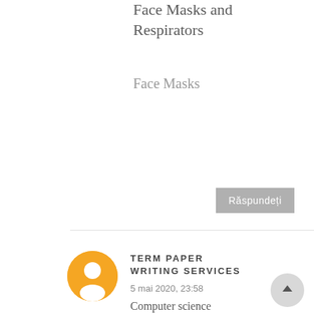Face Masks and Respirators
Face Masks
Răspundeți
TERM PAPER WRITING SERVICES
5 mai 2020, 23:58
Computer science